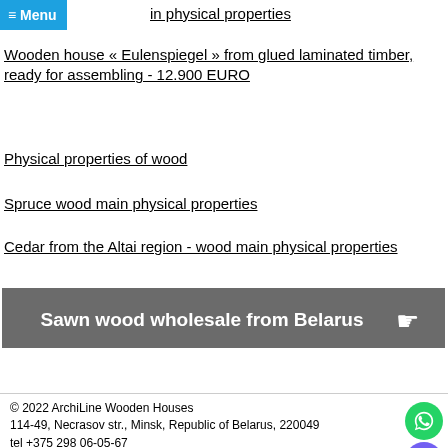≡ Menu
ain physical properties
Wooden house « Eulenspiegel » from glued laminated timber, ready for assembling - 12.900 EURO
Physical properties of wood
Spruce wood main physical properties
Cedar from the Altai region - wood main physical properties
[Figure (other): Dark gray banner button reading 'Sawn wood wholesale from Belarus' with a pointing hand cursor icon]
© 2022 ArchiLine Wooden Houses
114-49, Necrasov str., Minsk, Republic of Belarus, 220049
tel +375 298 06-05-67
mail@ownwoodenhouse.com
ownwoodenhouse.com
The site is powered by ⚙ Nestorclub.com